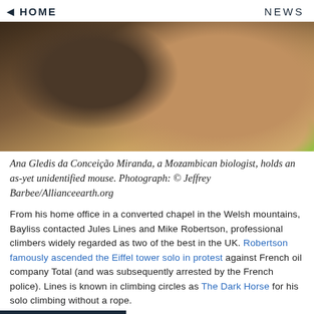◄ HOME   NEWS
[Figure (photo): Close-up blurred photograph of a person, likely Ana Gledis da Conceição Miranda, a Mozambican biologist]
Ana Gledis da Conceição Miranda, a Mozambican biologist, holds an as-yet unidentified mouse. Photograph: © Jeffrey Barbee/Allianceearth.org
From his home office in a converted chapel in the Welsh mountains, Bayliss contacted Jules Lines and Mike Robertson, professional climbers widely regarded as two of the best in the UK. Robertson famously ascended the Eiffel tower solo in protest against French oil company Total (and was subsequently arrested by the French police). Lines is known in climbing circles as The Dark Horse for his solo climbing without a rope.